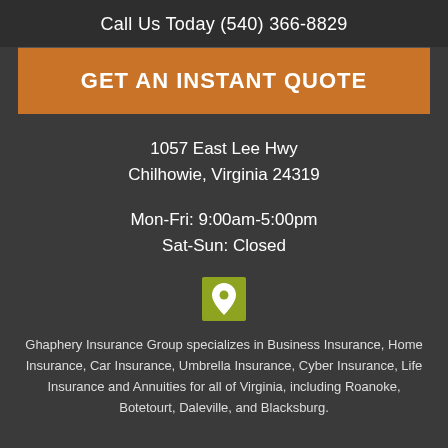Call Us Today (540) 366-8829
GET AN INSTANT QUOTE
1057 East Lee Hwy
Chilhowie, Virginia 24319
Mon-Fri: 9:00am-5:00pm
Sat-Sun: Closed
[Figure (illustration): Map pin / location marker icon on olive-green square background]
Ghaphery Insurance Group specializes in Business Insurance, Home Insurance, Car Insurance, Umbrella Insurance, Cyber Insurance, Life Insurance and Annuities for all of Virginia, including Roanoke, Botetourt, Daleville, and Blacksburg.